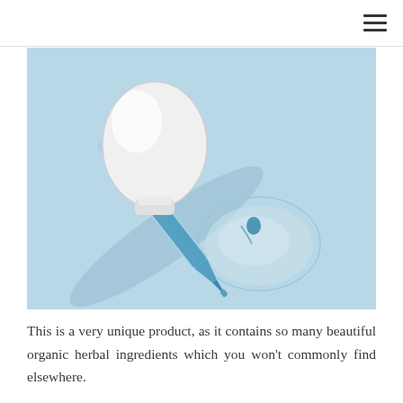☰
[Figure (photo): A white dropper/pipette lying diagonally on a light blue background. The glass tip of the dropper is dipped into a circular puddle of blue transparent liquid/serum that has pooled on the blue surface. The white rubber bulb is at the top-left, and the glass tube extends diagonally to the lower-right where it meets the liquid droplet.]
This is a very unique product, as it contains so many beautiful organic herbal ingredients which you won't commonly find elsewhere.